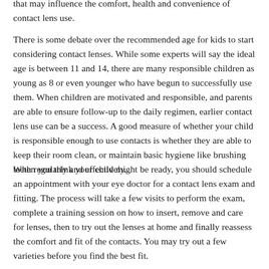that may influence the comfort, health and convenience of contact lens use.
There is some debate over the recommended age for kids to start considering contact lenses. While some experts will say the ideal age is between 11 and 14, there are many responsible children as young as 8 or even younger who have begun to successfully use them. When children are motivated and responsible, and parents are able to ensure follow-up to the daily regimen, earlier contact lens use can be a success. A good measure of whether your child is responsible enough to use contacts is whether they are able to keep their room clean, or maintain basic hygiene like brushing teeth regularly and effectively.
When you think your child might be ready, you should schedule an appointment with your eye doctor for a contact lens exam and fitting. The process will take a few visits to perform the exam, complete a training session on how to insert, remove and care for lenses, then to try out the lenses at home and finally reassess the comfort and fit of the contacts. You may try out a few varieties before you find the best fit.